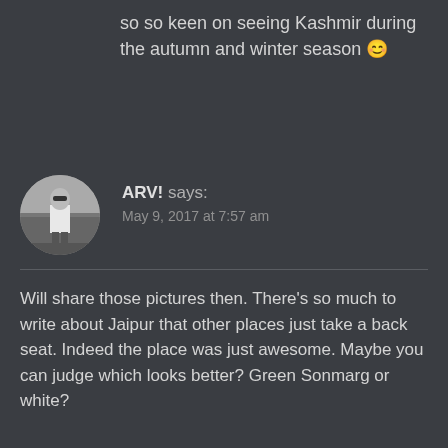so so keen on seeing Kashmir during the autumn and winter season 😊
[Figure (photo): Circular avatar photo of ARV! in black and white, showing a person standing outdoors]
ARV! says:
May 9, 2017 at 7:57 am
Will share those pictures then. There’s so much to write about Jaipur that other places just take a back seat. Indeed the place was just awesome. Maybe you can judge which looks better? Green Sonmarg or white?